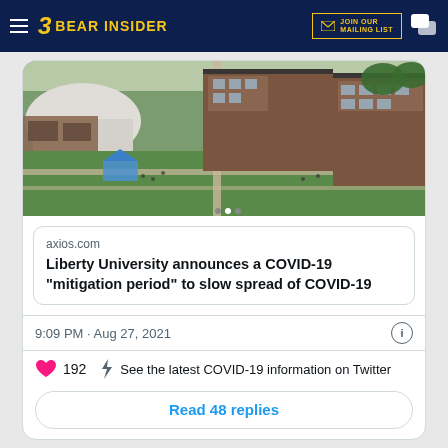3 BEAR INSIDER | JOIN OUR MAILING LIST
[Figure (photo): Aerial view of Liberty University campus showing brick buildings, green lawns, pathways, and a domed stadium structure]
axios.com
Liberty University announces a COVID-19 "mitigation period" to slow spread of COVID-19
9:09 PM · Aug 27, 2021
192   See the latest COVID-19 information on Twitter
Read 48 replies